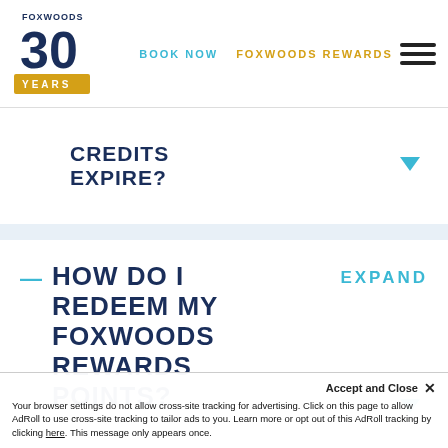Foxwoods 30 Years | BOOK NOW | FOXWOODS REWARDS
CREDITS EXPIRE?
HOW DO I REDEEM MY FOXWOODS REWARDS POINTS?
CAN I GIVE
Your browser settings do not allow cross-site tracking for advertising. Click on this page to allow AdRoll to use cross-site tracking to tailor ads to you. Learn more or opt out of this AdRoll tracking by clicking here. This message only appears once.